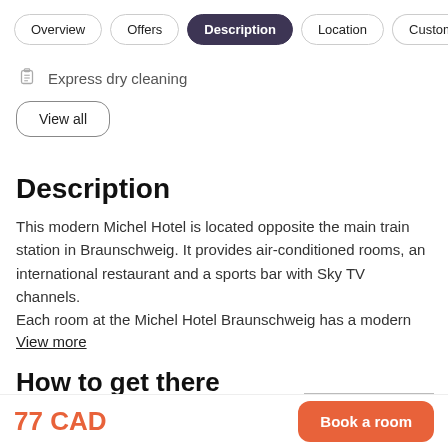Overview | Offers | Description | Location | Customer
Express dry cleaning
View all
Description
This modern Michel Hotel is located opposite the main train station in Braunschweig. It provides air-conditioned rooms, an international restaurant and a sports bar with Sky TV channels.
Each room at the Michel Hotel Braunschweig has a modern
View more
How to get there
77 CAD
Book a room